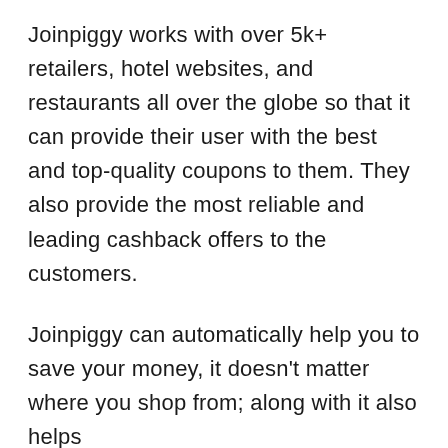Joinpiggy works with over 5k+ retailers, hotel websites, and restaurants all over the globe so that it can provide their user with the best and top-quality coupons to them. They also provide the most reliable and leading cashback offers to the customers.
Joinpiggy can automatically help you to save your money, it doesn't matter where you shop from; along with it also helps